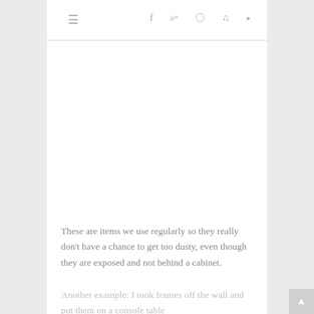≡   f  🐦  ⊙  ℘  ⊃
[Figure (photo): White/blank image area in the main content column]
These are items we use regularly so they really don't have a chance to get too dusty, even though they are exposed and not behind a cabinet.
Another example:  I took frames off the wall and put them on a console table